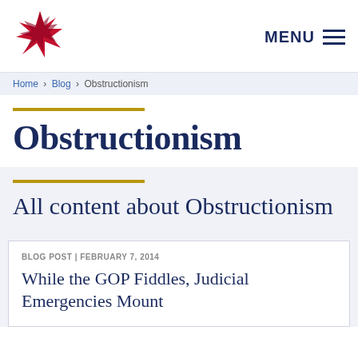[Figure (logo): Stylized red and dark red star/asterisk logo with jagged edges]
MENU
Home > Blog > Obstructionism
Obstructionism
All content about Obstructionism
BLOG POST | FEBRUARY 7, 2014
While the GOP Fiddles, Judicial Emergencies Mount